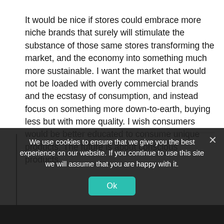It would be nice if stores could embrace more niche brands that surely will stimulate the substance of those same stores transforming the market, and the economy into something much more sustainable. I want the market that would not be loaded with overly commercial brands and the ecstasy of consumption, and instead focus on something more down-to-earth, buying less but with more quality. I wish consumers would be better educated to consume unique products. The future is about conscious products.
We use cookies to ensure that we give you the best experience on our website. If you continue to use this site we will assume that you are happy with it.